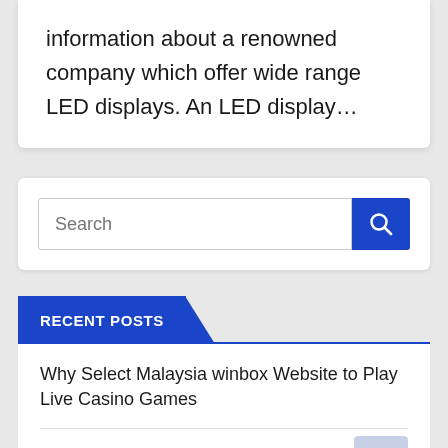information about a renowned company which offer wide range LED displays. An LED display…
[Figure (screenshot): Search bar with blue search button containing a magnifying glass icon]
RECENT POSTS
Why Select Malaysia winbox Website to Play Live Casino Games
Smart Boards in the Classroom: What They Can Do for You